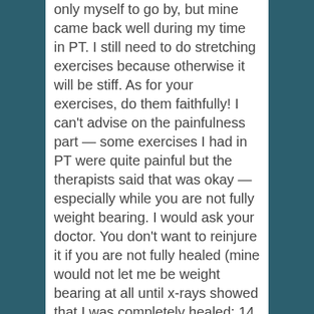only myself to go by, but mine came back well during my time in PT. I still need to do stretching exercises because otherwise it will be stiff. As for your exercises, do them faithfully! I can't advise on the painfulness part — some exercises I had in PT were quite painful but the therapists said that was okay — especially while you are not fully weight bearing. I would ask your doctor. You don't want to reinjure it if you are not fully healed (mine would not let me be weight bearing at all until x-rays showed that I was completely healed: 14 weeks after